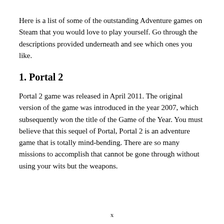Here is a list of some of the outstanding Adventure games on Steam that you would love to play yourself. Go through the descriptions provided underneath and see which ones you like.
1. Portal 2
Portal 2 game was released in April 2011. The original version of the game was introduced in the year 2007, which subsequently won the title of the Game of the Year. You must believe that this sequel of Portal, Portal 2 is an adventure game that is totally mind-bending. There are so many missions to accomplish that cannot be gone through without using your wits but the weapons.
x